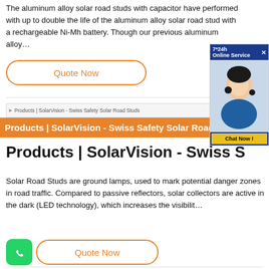The aluminum alloy solar road studs with capacitor have performed with up to double the life of the aluminum alloy solar road stud with a rechargeable Ni-Mh battery. Though our previous aluminum alloy…
[Figure (screenshot): Quote Now button (orange outline, rounded)]
[Figure (screenshot): 7*24h Online Service chat widget with photo of woman wearing headset and Chat Now button]
[Figure (screenshot): Browser address bar showing: Products | SolarVision - Swiss Safety Solar Road Studs]
[Figure (screenshot): Orange navigation bar with text: Products | SolarVision - Swiss Safety Solar Road Studs]
Products | SolarVision - Swiss S
Solar Road Studs are ground lamps, used to mark potential danger zones in road traffic. Compared to passive reflectors, solar collectors are active in the dark (LED technology), which increases the visibilit…
[Figure (screenshot): WhatsApp icon (green rounded square) and Quote Now button (orange outline, rounded)]